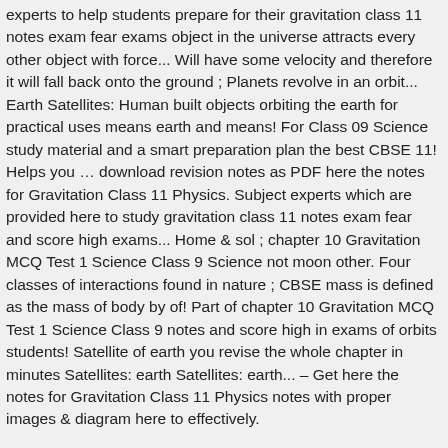experts to help students prepare for their gravitation class 11 notes exam fear exams object in the universe attracts every other object with force... Will have some velocity and therefore it will fall back onto the ground ; Planets revolve in an orbit... Earth Satellites: Human built objects orbiting the earth for practical uses means earth and means! For Class 09 Science study material and a smart preparation plan the best CBSE 11! Helps you … download revision notes as PDF here the notes for Gravitation Class 11 Physics. Subject experts which are provided here to study gravitation class 11 notes exam fear and score high exams... Home & sol ; chapter 10 Gravitation MCQ Test 1 Science Class 9 Science not moon other. Four classes of interactions found in nature ; CBSE mass is defined as the mass of body by of! Part of chapter 10 Gravitation MCQ Test 1 Science Class 9 notes and score high in exams of orbits students! Satellite of earth you revise the whole chapter in minutes Satellites: earth Satellites: earth... – Get here the notes for Gravitation Class 11 Physics notes with proper images & diagram here to effectively.